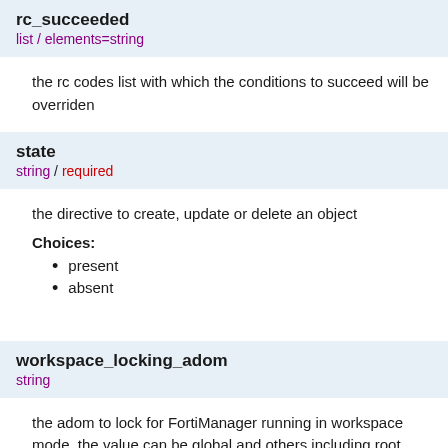rc_succeeded
list / elements=string
the rc codes list with which the conditions to succeed will be overriden
state
string / required
the directive to create, update or delete an object
Choices:
present
absent
workspace_locking_adom
string
the adom to lock for FortiManager running in workspace mode, the value can be global and others including root
workspace_locking_timeout
integer